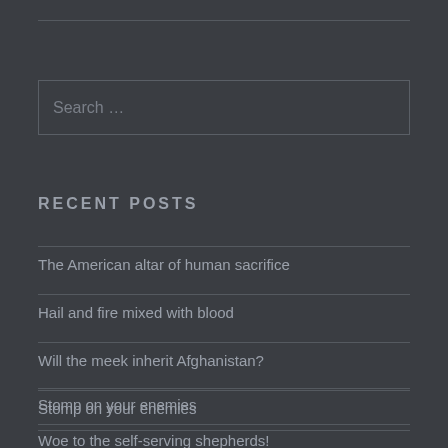Search …
RECENT POSTS
The American altar of human sacrifice
Hail and fire mixed with blood
Will the meek inherit Afghanistan?
Stomp on your enemies
Woe to the self-serving shepherds!